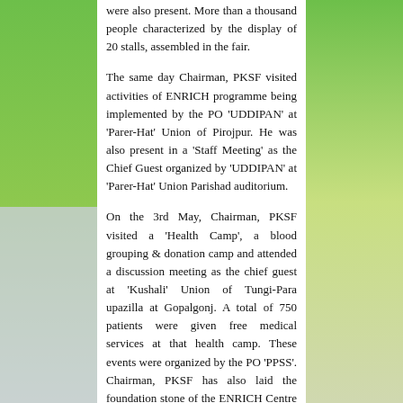were also present. More than a thousand people characterized by the display of 20 stalls, assembled in the fair.
The same day Chairman, PKSF visited activities of ENRICH programme being implemented by the PO 'UDDIPAN' at 'Parer-Hat' Union of Pirojpur. He was also present in a 'Staff Meeting' as the Chief Guest organized by 'UDDIPAN' at 'Parer-Hat' Union Parishad auditorium.
On the 3rd May, Chairman, PKSF visited a 'Health Camp', a blood grouping & donation camp and attended a discussion meeting as the chief guest at 'Kushali' Union of Tungi-Para upazilla at Gopalgonj. A total of 750 patients were given free medical services at that health camp. These events were organized by the PO 'PPSS'. Chairman, PKSF has also laid the foundation stone of the ENRICH Centre at Ward No-1 of 'Kushali' Union.
On that day the honorable Chairman of PKSF visited the mausoleum of the Father of the Nation, Bangabandhu